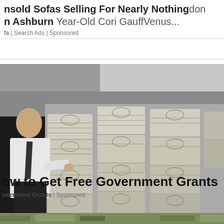nsold Sofas Selling For Nearly Nothing don n Ashburn Year-Old Cori GauffVenus...
fa | Search Ads | Sponsored
[Figure (photo): A man in a white shirt and dark tie stands next to large stacks of bundled US currency bills piled high, in what appears to be a vault or currency processing area. Black and white/grayscale image.]
ow to Get Free Government Grants
wernment Grants | Sponsored